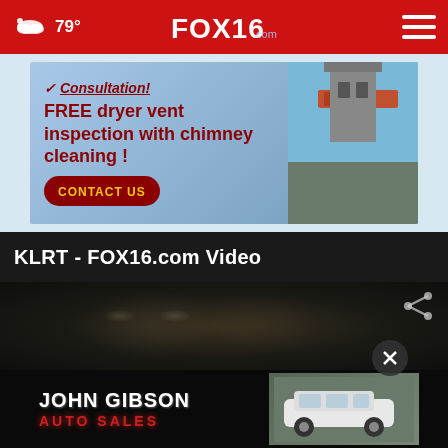79° FOX16.com
[Figure (photo): Advertisement for chimney cleaning service: FREE dryer vent inspection with chimney cleaning! CONTACT US — with image of a chimney on a house]
KLRT - FOX16.com Video
[Figure (screenshot): Video player area showing a dark close-up face image with a share icon in the upper right]
[Figure (photo): John Gibson Auto Sales advertisement banner with logo and a white SUV]